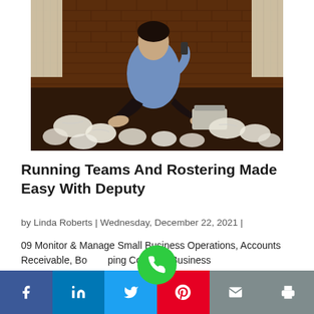[Figure (photo): Person sitting on floor against brick wall surrounded by crumpled papers, holding phone to ear, with typewriter nearby. Curtains visible in background windows.]
Running Teams And Rostering Made Easy With Deputy
by Linda Roberts | Wednesday, December 22, 2021 |
09 Monitor & Manage Small Business Operations, Accounts Receivable, Bookkeeping Courses, Business